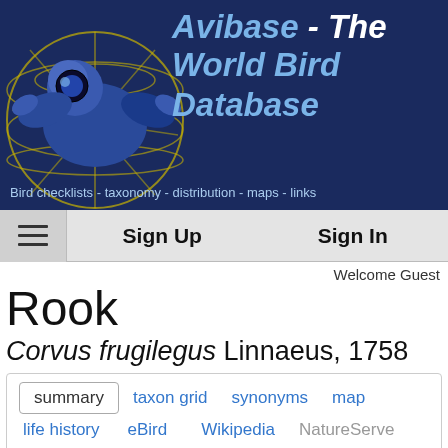[Figure (logo): Avibase world bird database logo with globe and bird silhouette on dark navy background]
Avibase - The World Bird Database
Bird checklists - taxonomy - distribution - maps - links
Sign Up    Sign In
Welcome Guest
Rook
Corvus frugilegus Linnaeus, 1758
summary
taxon grid
synonyms
map
life history
eBird
Wikipedia
NatureServe
ITIS
Flickr
Audio
More links